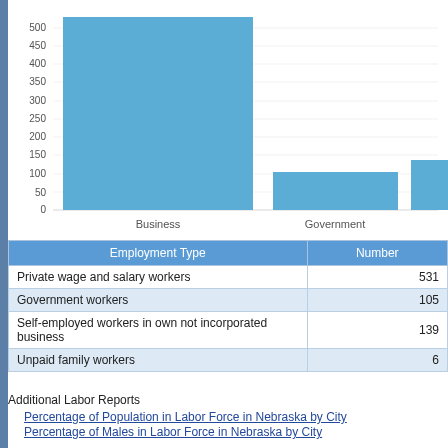[Figure (bar-chart): ]
| Employment Type | Number |
| --- | --- |
| Private wage and salary workers | 531 |
| Government workers | 105 |
| Self-employed workers in own not incorporated business | 139 |
| Unpaid family workers | 6 |
Additional Labor Reports
Percentage of Population in Labor Force in Nebraska by City
Percentage of Males in Labor Force in Nebraska by City